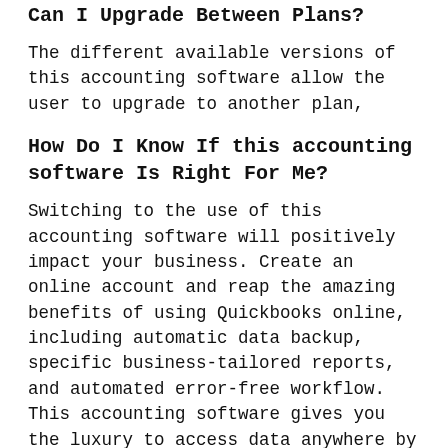Can I Upgrade Between Plans?
The different available versions of this accounting software allow the user to upgrade to another plan,
How Do I Know If this accounting software Is Right For Me?
Switching to the use of this accounting software will positively impact your business. Create an online account and reap the amazing benefits of using Quickbooks online, including automatic data backup, specific business-tailored reports, and automated error-free workflow. This accounting software gives you the luxury to access data anywhere by backing up your data in the cloud.
Sign up online or call 877 -697 -8430 for a detailed